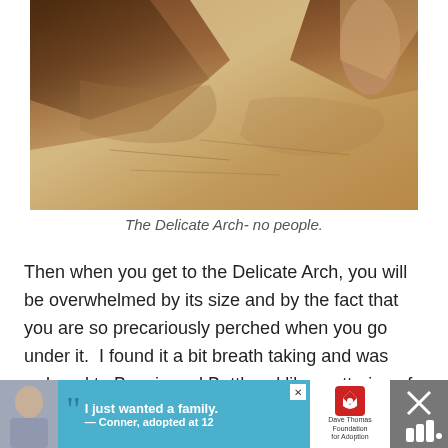[Figure (photo): Photo of the Delicate Arch rock formation with sandy rock surfaces and dramatic shadows, no people visible]
The Delicate Arch- no people.
Then when you get to the Delicate Arch, you will be overwhelmed by its size and by the fact that you are so precariously perched when you go under it.  I found it a bit breath taking and was reduced to Beavis and Butthead like muttering of, "woah!"
[Figure (photo): Advertisement banner: Dave Thomas Foundation for Adoption. Shows a young boy with quote 'I just wanted a family. — Conner, adopted at 12']